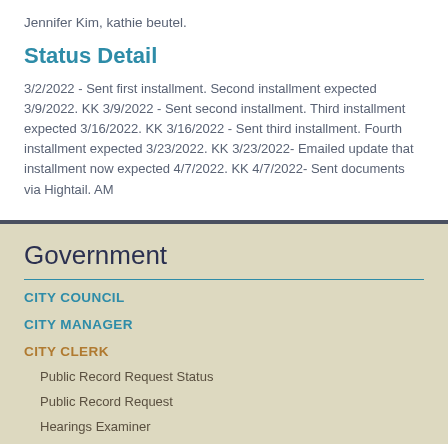Jennifer Kim, kathie beutel.
Status Detail
3/2/2022 - Sent first installment. Second installment expected 3/9/2022. KK 3/9/2022 - Sent second installment. Third installment expected 3/16/2022. KK 3/16/2022 - Sent third installment. Fourth installment expected 3/23/2022. KK 3/23/2022- Emailed update that installment now expected 4/7/2022. KK 4/7/2022- Sent documents via Hightail. AM
Government
CITY COUNCIL
CITY MANAGER
CITY CLERK
Public Record Request Status
Public Record Request
Hearings Examiner